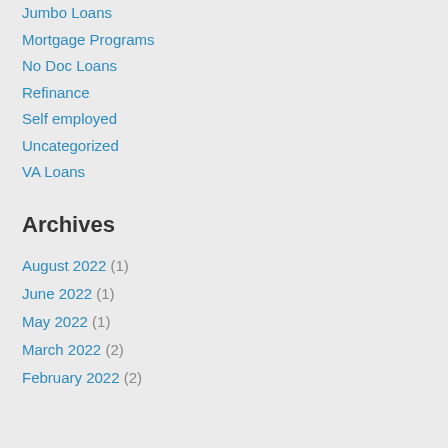Jumbo Loans
Mortgage Programs
No Doc Loans
Refinance
Self employed
Uncategorized
VA Loans
Archives
August 2022 (1)
June 2022 (1)
May 2022 (1)
March 2022 (2)
February 2022 (2)